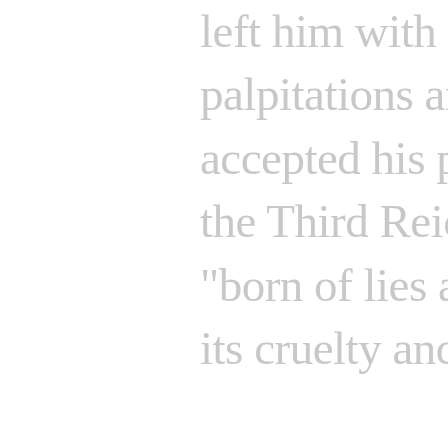left him with lifelong spells of palpitations and depression. He accepted his prize in 1947, after the Third Reich had collapsed, "born of lies and suffocated under its cruelty and blood," he wrote. Domagk wore his old tails and a borrowed waistcoat to the ceremony. He was exhausted, celery-thin, and acquainted with grief; his mother had died from starvation during the war and the Nazis sent his son Wolfgang, aged 15, and his classmates to attack a million Soviet troops. As humble as the Curies,